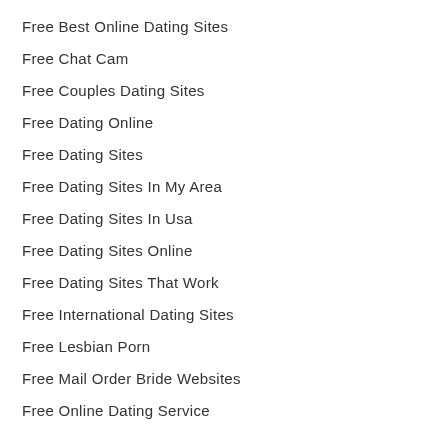Free Best Online Dating Sites
Free Chat Cam
Free Couples Dating Sites
Free Dating Online
Free Dating Sites
Free Dating Sites In My Area
Free Dating Sites In Usa
Free Dating Sites Online
Free Dating Sites That Work
Free International Dating Sites
Free Lesbian Porn
Free Mail Order Bride Websites
Free Online Dating Service